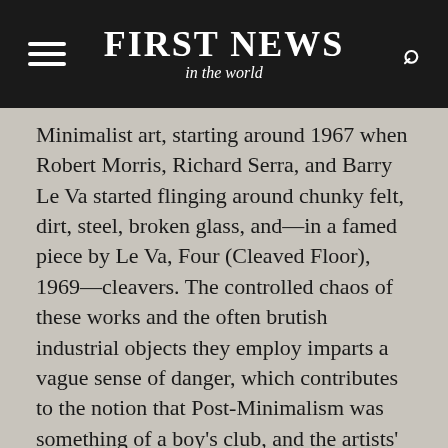FIRST NEWS in the world
Minimalist art, starting around 1967 when Robert Morris, Richard Serra, and Barry Le Va started flinging around chunky felt, dirt, steel, broken glass, and—in a famed piece by Le Va, Four (Cleaved Floor), 1969—cleavers. The controlled chaos of these works and the often brutish industrial objects they employ imparts a vague sense of danger, which contributes to the notion that Post-Minimalism was something of a boy's club, and the artists' actions a release of hypermasculine energy.
Katie Bell, Object of the Game, 2021, wall paint, laminate, veneer, wood, metal, drywall, and mixed media, dimensions variable; at Spencer Brownstone.